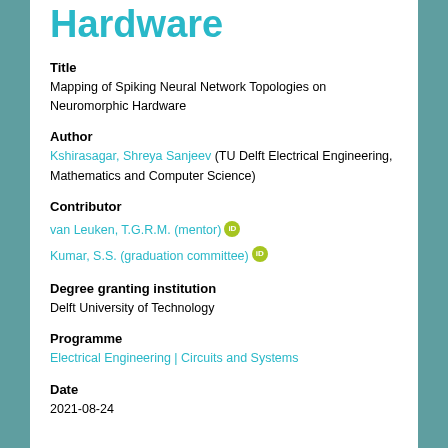Hardware
Title
Mapping of Spiking Neural Network Topologies on Neuromorphic Hardware
Author
Kshirasagar, Shreya Sanjeev (TU Delft Electrical Engineering, Mathematics and Computer Science)
Contributor
van Leuken, T.G.R.M. (mentor) [ORCID]
Kumar, S.S. (graduation committee) [ORCID]
Degree granting institution
Delft University of Technology
Programme
Electrical Engineering | Circuits and Systems
Date
2021-08-24